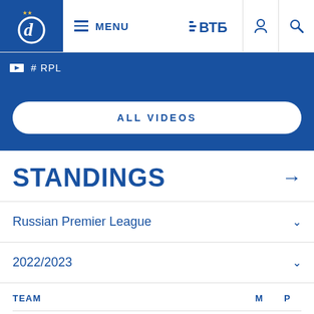MENU | ВТБ
# RPL
ALL VIDEOS
STANDINGS →
Russian Premier League
2022/2023
| TEAM | M | P |
| --- | --- | --- |